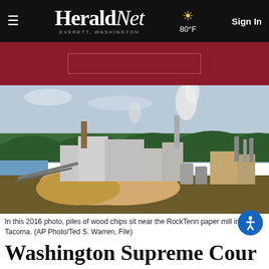HeraldNet — EVERETT, WASHINGTON | 80°F | Sign In
[Figure (photo): Advertisement banner with dark red/maroon background and a lighter bordered rectangle in the center]
[Figure (photo): Industrial paper mill facility with large piles of wood chips in foreground, tall chimneys with smoke, water visible in background, forested hillside behind the plant. RockTenn paper mill in Tacoma.]
In this 2016 photo, piles of wood chips sit near the RockTenn paper mill in Tacoma. (AP Photo/Ted S. Warren, File)
Washington Supreme Court